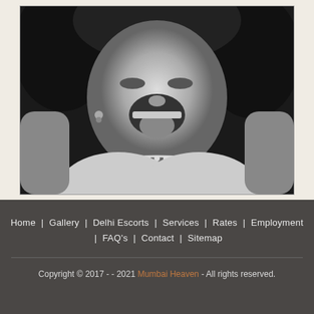[Figure (photo): Black and white close-up photograph of a woman with her mouth open and tongue out, wearing a pearl necklace choker.]
Home | Gallery | Delhi Escorts | Services | Rates | Employment | FAQ's | Contact | Sitemap
Copyright © 2017 - - 2021 Mumbai Heaven - All rights reserved.